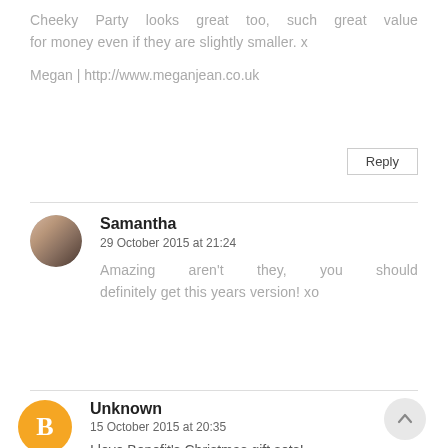Cheeky Party looks great too, such great value for money even if they are slightly smaller. x
Megan | http://www.meganjean.co.uk
Reply
[Figure (photo): Circular avatar photo of Samantha, a person with blonde hair]
Samantha
29 October 2015 at 21:24
Amazing aren't they, you should definitely get this years version! xo
[Figure (logo): Orange circle with white letter B, Blogger logo avatar for Unknown commenter]
Unknown
15 October 2015 at 20:35
I love Benefit's Christmas gift sets!